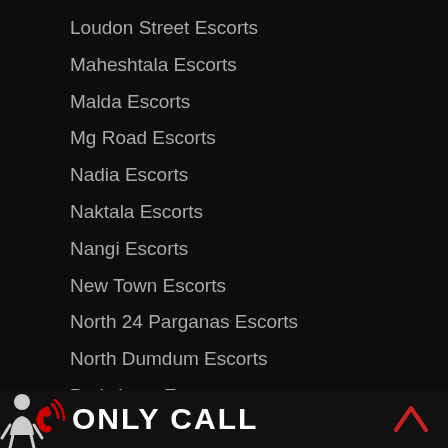Loudon Street Escorts
Maheshtala Escorts
Malda Escorts
Mg Road Escorts
Nadia Escorts
Naktala Escorts
Nangi Escorts
New Town Escorts
North 24 Parganas Escorts
North Dumdum Escorts
Parkcircus Escorts
Park Street Escorts
Parnasree Palli Escorts
ONLY CALL